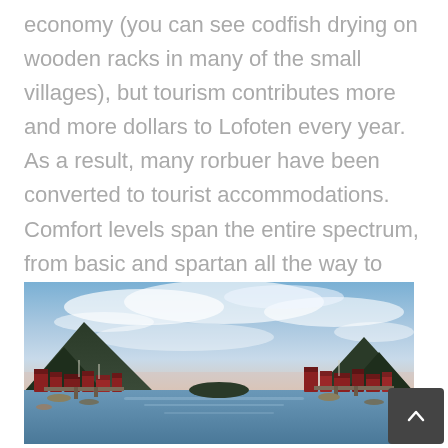economy (you can see codfish drying on wooden racks in many of the small villages), but tourism contributes more and more dollars to Lofoten every year. As a result, many rorbuer have been converted to tourist accommodations. Comfort levels span the entire spectrum, from basic and spartan all the way to luxurious.
[Figure (photo): Aerial/elevated view of a Norwegian fishing village (likely Lofoten Islands) with red rorbuer cabins along a harbor, boats in water, mountains in background, dramatic cloudy sky at dusk or dawn.]